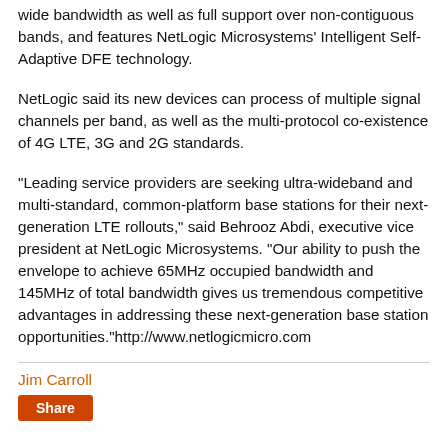wide bandwidth as well as full support over non-contiguous bands, and features NetLogic Microsystems' Intelligent Self-Adaptive DFE technology.
NetLogic said its new devices can process of multiple signal channels per band, as well as the multi-protocol co-existence of 4G LTE, 3G and 2G standards.
"Leading service providers are seeking ultra-wideband and multi-standard, common-platform base stations for their next-generation LTE rollouts," said Behrooz Abdi, executive vice president at NetLogic Microsystems. "Our ability to push the envelope to achieve 65MHz occupied bandwidth and 145MHz of total bandwidth gives us tremendous competitive advantages in addressing these next-generation base station opportunities."http://www.netlogicmicro.com
Jim Carroll
Share